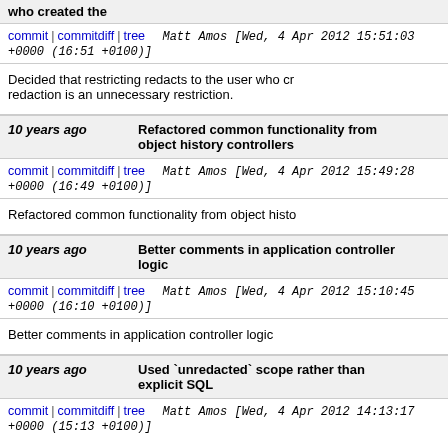who created the
commit | commitdiff | tree   Matt Amos [Wed, 4 Apr 2012 15:51:03 +0000 (16:51 +0100)]
Decided that restricting redacts to the user who created the redaction is an unnecessary restriction.
10 years ago   Refactored common functionality from object history controllers
commit | commitdiff | tree   Matt Amos [Wed, 4 Apr 2012 15:49:28 +0000 (16:49 +0100)]
Refactored common functionality from object histo
10 years ago   Better comments in application controller logic
commit | commitdiff | tree   Matt Amos [Wed, 4 Apr 2012 15:10:45 +0000 (16:10 +0100)]
Better comments in application controller logic
10 years ago   Used `unredacted` scope rather than explicit SQL
commit | commitdiff | tree   Matt Amos [Wed, 4 Apr 2012 14:13:17 +0000 (15:13 +0100)]